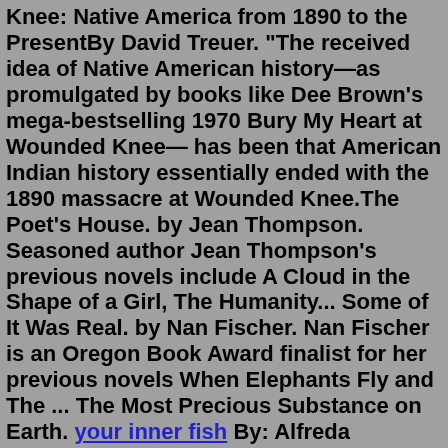Knee: Native America from 1890 to the PresentBy David Treuer. "The received idea of Native American history—as promulgated by books like Dee Brown's mega-bestselling 1970 Bury My Heart at Wounded Knee— has been that American Indian history essentially ended with the 1890 massacre at Wounded Knee.The Poet's House. by Jean Thompson. Seasoned author Jean Thompson's previous novels include A Cloud in the Shape of a Girl, The Humanity... Some of It Was Real. by Nan Fischer. Nan Fischer is an Oregon Book Award finalist for her previous novels When Elephants Fly and The ... The Most Precious Substance on Earth. your inner fish By: Alfreda Beartrack-Algeo. Young Alfred Swallow uses his wits when he is intimidated at gun point by a bunch of hired thugs and when he lands in a rattle snake den. His determination to stop the corrupt land agent and help his family keep their land comes into focus when he involves people who know how to stop the land grab.Native Reflections services all of North America, where we are working hard to preserve First Nations